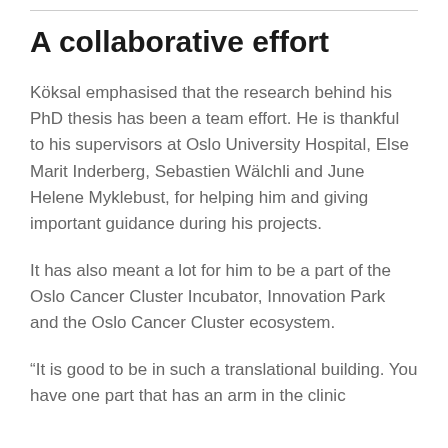A collaborative effort
Köksal emphasised that the research behind his PhD thesis has been a team effort. He is thankful to his supervisors at Oslo University Hospital, Else Marit Inderberg, Sebastien Wälchli and June Helene Myklebust, for helping him and giving important guidance during his projects.
It has also meant a lot for him to be a part of the Oslo Cancer Cluster Incubator, Innovation Park and the Oslo Cancer Cluster ecosystem.
“It is good to be in such a translational building. You have one part that has an arm in the clinic